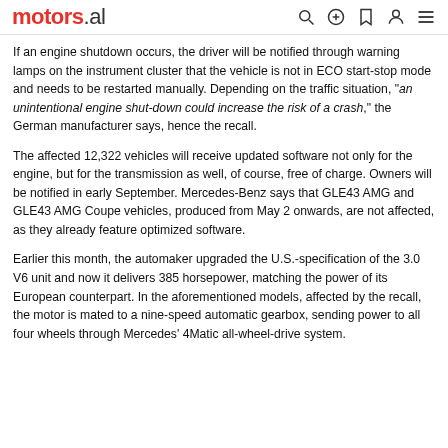motors.al
If an engine shutdown occurs, the driver will be notified through warning lamps on the instrument cluster that the vehicle is not in ECO start-stop mode and needs to be restarted manually. Depending on the traffic situation, "an unintentional engine shut-down could increase the risk of a crash," the German manufacturer says, hence the recall.
The affected 12,322 vehicles will receive updated software not only for the engine, but for the transmission as well, of course, free of charge. Owners will be notified in early September. Mercedes-Benz says that GLE43 AMG and GLE43 AMG Coupe vehicles, produced from May 2 onwards, are not affected, as they already feature optimized software.
Earlier this month, the automaker upgraded the U.S.-specification of the 3.0 V6 unit and now it delivers 385 horsepower, matching the power of its European counterpart. In the aforementioned models, affected by the recall, the motor is mated to a nine-speed automatic gearbox, sending power to all four wheels through Mercedes' 4Matic all-wheel-drive system.